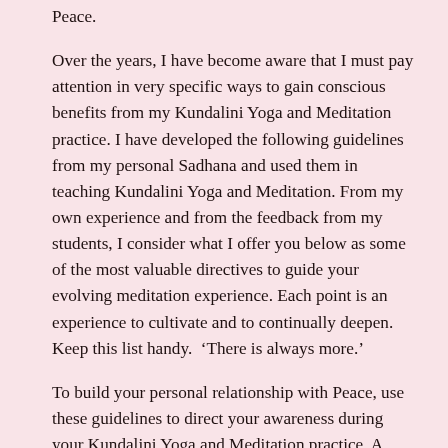Peace.
Over the years, I have become aware that I must pay attention in very specific ways to gain conscious benefits from my Kundalini Yoga and Meditation practice. I have developed the following guidelines from my personal Sadhana and used them in teaching Kundalini Yoga and Meditation. From my own experience and from the feedback from my students, I consider what I offer you below as some of the most valuable directives to guide your evolving meditation experience. Each point is an experience to cultivate and to continually deepen.  Keep this list handy.  ‘There is always more.’
To build your personal relationship with Peace, use these guidelines to direct your awareness during your Kundalini Yoga and Meditation practice. A kriya is given below, but you can use the following guidelines to focus